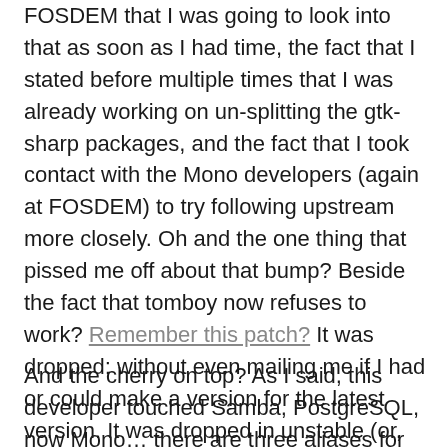FOSDEM that I was going to look into that as soon as I had time, the fact that I stated before multiple times that I was already working on un-splitting the gtk-sharp packages, and the fact that I took contact with the Mono developers (again at FOSDEM) to try following upstream more closely. Oh and the one thing that pissed me off about that bump? Beside the fact that tomboy now refuses to work? Remember this patch? It was dropped; without even mailing me if I had or could make a version for the latest version. It was dropped in unstable (or, how it should be called if this kind of stuff is allowed to continue, unusable).
And the cherry on top? As I said, this developer touched Samba, PostgreSQL, now Mono… there are three aliases for these things ( and